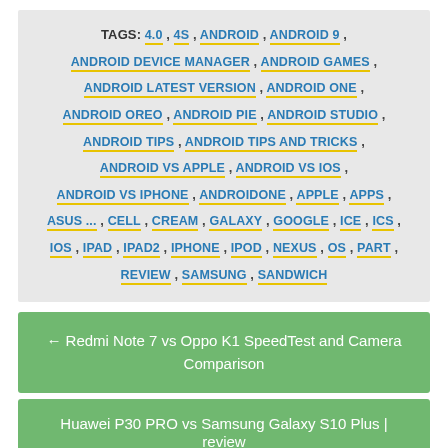TAGS: 4.0, 4S, ANDROID, ANDROID 9, ANDROID DEVICE MANAGER, ANDROID GAMES, ANDROID LATEST VERSION, ANDROID ONE, ANDROID OREO, ANDROID PIE, ANDROID STUDIO, ANDROID TIPS, ANDROID TIPS AND TRICKS, ANDROID VS APPLE, ANDROID VS IOS, ANDROID VS IPHONE, ANDROIDONE, APPLE, APPS, ASUS ..., CELL, CREAM, GALAXY, GOOGLE, ICE, ICS, IOS, IPAD, IPAD2, IPHONE, IPOD, NEXUS, OS, PART, REVIEW, SAMSUNG, SANDWICH
← Redmi Note 7 vs Oppo K1 SpeedTest and Camera Comparison
Huawei P30 PRO vs Samsung Galaxy S10 Plus | review